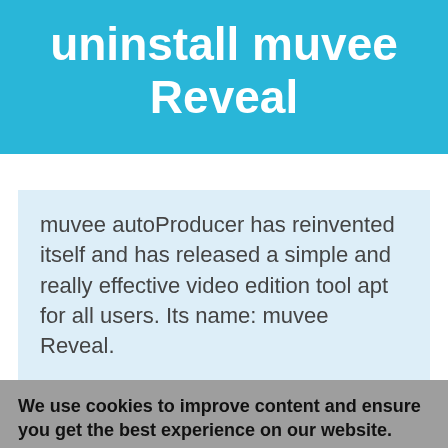uninstall muvee Reveal
muvee autoProducer has reinvented itself and has released a simple and really effective video edition tool apt for all users. Its name: muvee Reveal.
We use cookies to improve content and ensure you get the best experience on our website. By continuing to browse our website you agree to our privacy policy. For more information please view our Privacy & Cookie Policy